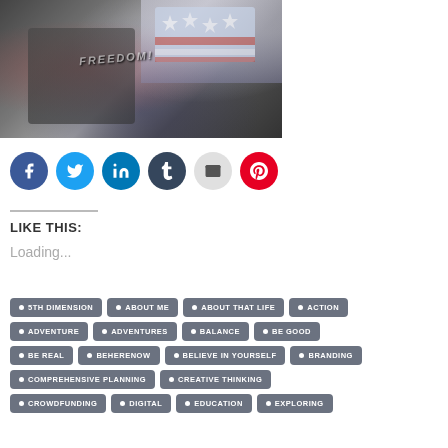[Figure (photo): Two people standing together, one wearing a shirt with 'FREEDOM' text and an American flag motif top on the other person]
Social share buttons: Facebook, Twitter, LinkedIn, Tumblr, Email, Pinterest
LIKE THIS:
Loading...
5TH DIMENSION
ABOUT ME
ABOUT THAT LIFE
ACTION
ADVENTURE
ADVENTURES
BALANCE
BE GOOD
BE REAL
BEHERENOW
BELIEVE IN YOURSELF
BRANDING
COMPREHENSIVE PLANNING
CREATIVE THINKING
CROWDFUNDING
DIGITAL
EDUCATION
EXPLORING